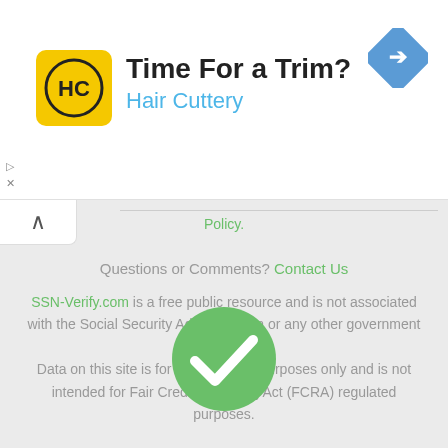[Figure (advertisement): Hair Cuttery advertisement banner with yellow logo showing HC letters, text 'Time For a Trim?' and 'Hair Cuttery' in blue, with a blue navigation/map arrow icon on the right]
Policy.
Questions or Comments? Contact Us
SSN-Verify.com is a free public resource and is not associated with the Social Security Administration or any other government agency.
Data on this site is for informational purposes only and is not intended for Fair Credit Reporting Act (FCRA) regulated purposes.
[Figure (illustration): Green circle with white checkmark icon]